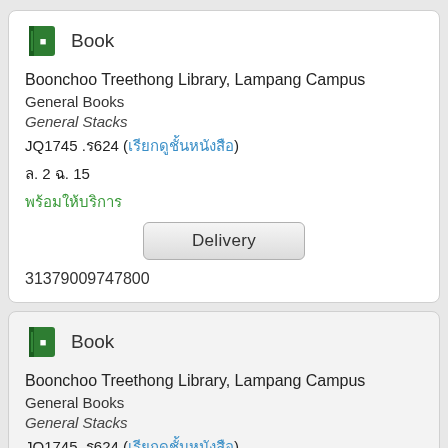[Figure (illustration): Green book icon next to the word Book]
Book
Boonchoo Treethong Library, Lampang Campus
General Books
General Stacks
JQ1745 .ร624 (เรียกดูชั้นหนังสือ)
ล. 2 ฉ. 15
พร้อมให้บริการ
Delivery
31379009747800
[Figure (illustration): Green book icon next to the word Book]
Book
Boonchoo Treethong Library, Lampang Campus
General Books
General Stacks
JQ1745 .ร624 (เรียกดูชั้นหนังสือ)
ล. 2 ฉ. 16